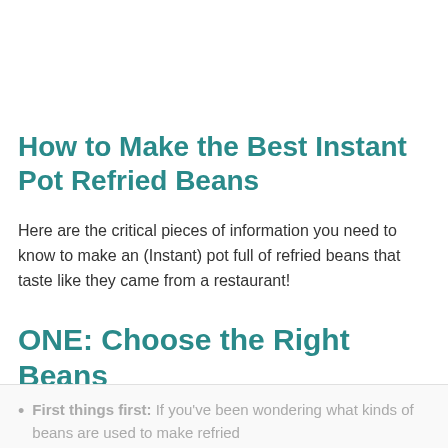How to Make the Best Instant Pot Refried Beans
Here are the critical pieces of information you need to know to make an (Instant) pot full of refried beans that taste like they came from a restaurant!
ONE: Choose the Right Beans
First things first: If you've been wondering what kinds of beans are used to make refried